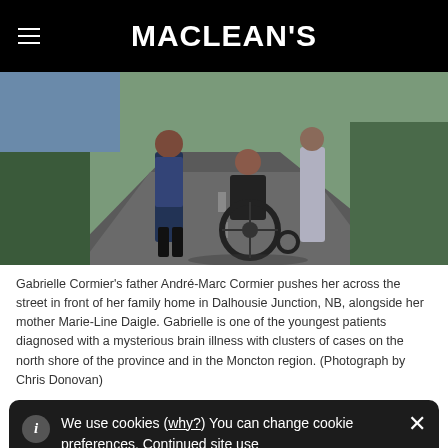MACLEAN'S
[Figure (photo): A person in a wheelchair being pushed along a road beside rural vegetation. One person pushes from behind, another walks alongside. Outdoor scene with trees and a road stretching into the distance.]
Gabrielle Cormier's father André-Marc Cormier pushes her across the street in front of her family home in Dalhousie Junction, NB, alongside her mother Marie-Line Daigle. Gabrielle is one of the youngest patients diagnosed with a mysterious brain illness with clusters of cases on the north shore of the province and in the Moncton region. (Photograph by Chris Donovan)
We use cookies (why?) You can change cookie preferences. Continued site use